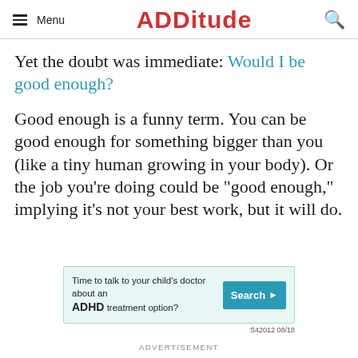Menu | ADDITUDE
Yet the doubt was immediate: Would I be good enough?
Good enough is a funny term. You can be good enough for something bigger than you (like a tiny human growing in your body). Or the job you’re doing could be “good enough,” implying it’s not your best work, but it will do.
[Figure (other): Advertisement banner: Time to talk to your child’s doctor about an ADHD treatment option? Search > S42012 08/18]
ADVERTISEMENT